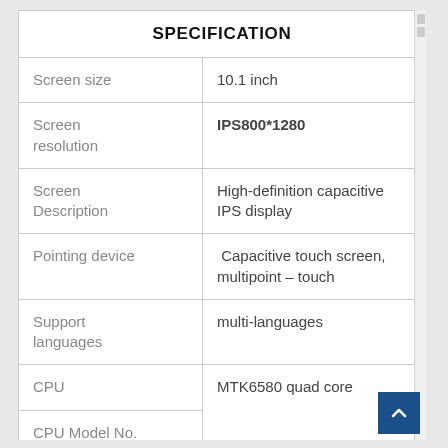| SPECIFICATION |  |
| --- | --- |
| Screen size | 10.1 inch |
| Screen resolution | IPS800*1280 |
| Screen Description | High-definition capacitive IPS display |
| Pointing device | Capacitive touch screen, multipoint – touch |
| Support languages | multi-languages |
| CPU | MTK6580 quad core |
| CPU Model No. |  |